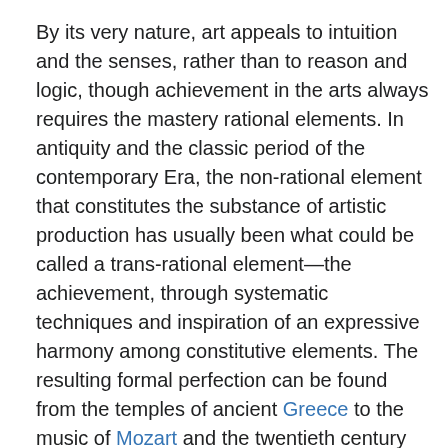By its very nature, art appeals to intuition and the senses, rather than to reason and logic, though achievement in the arts always requires the mastery rational elements. In antiquity and the classic period of the contemporary Era, the non-rational element that constitutes the substance of artistic production has usually been what could be called a trans-rational element—the achievement, through systematic techniques and inspiration of an expressive harmony among constitutive elements. The resulting formal perfection can be found from the temples of ancient Greece to the music of Mozart and the twentieth century paintings of Piet Mondrian.
On the other hand, in the nineteenth century, based upon the development of Romanticism, there was a strong movement of emphasis on the aspects of life that were alien to reason, at least in the narrow sense. Emotions, intuition, and feelings were strongly emphasized. The subconscious dimension was gradually discovered. As a